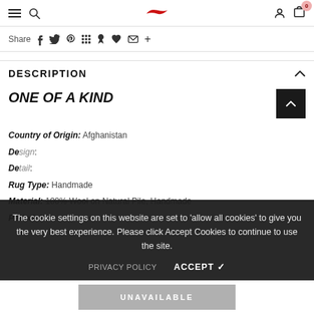Navigation bar with hamburger menu, search, logo, account, and cart (0)
Share  f  t  p  [grid]  [anchor]  [heart]  [mail]  +
DESCRIPTION
ONE OF A KIND
Country of Origin: Afghanistan
De[sign]: ...
De[tail]: ...
Rug Type: Handmade ...
Material: 100% Wool on Natural Pile, Handmade ...
Period: New
Cookie notice: The cookie settings on this website are set to 'allow all cookies' to give you the very best experience. Please click Accept Cookies to continue to use the site.
PRIVACY POLICY   ACCEPT ✓
UNAVAILABLE